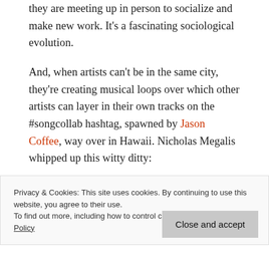they are meeting up in person to socialize and make new work. It's a fascinating sociological evolution.
And, when artists can't be in the same city, they're creating musical loops over which other artists can layer in their own tracks on the #songcollab hashtag, spawned by Jason Coffee, way over in Hawaii. Nicholas Megalis whipped up this witty ditty:
Privacy & Cookies: This site uses cookies. By continuing to use this website, you agree to their use.
To find out more, including how to control cookies, see here: Cookie Policy